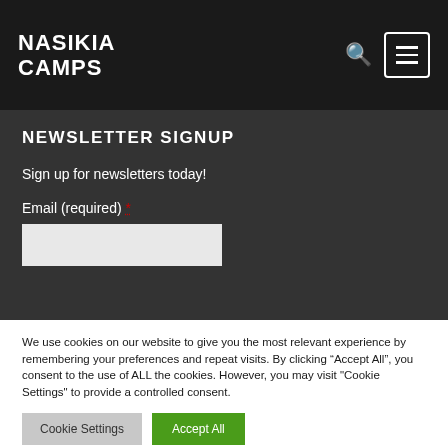NASIKIA CAMPS
NEWSLETTER SIGNUP
Sign up for newsletters today!
Email (required) *
We use cookies on our website to give you the most relevant experience by remembering your preferences and repeat visits. By clicking “Accept All”, you consent to the use of ALL the cookies. However, you may visit "Cookie Settings" to provide a controlled consent.
Cookie Settings | Accept All